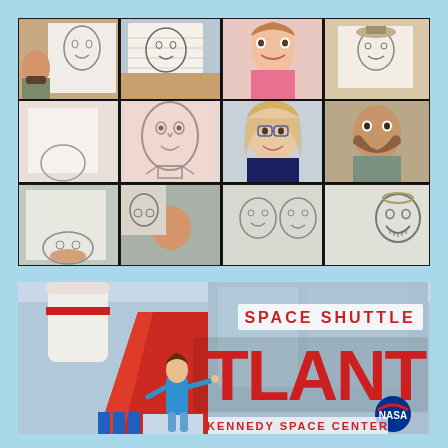[Figure (photo): A video call screenshot showing multiple participants in a grid layout. Each participant is holding up a hand-drawn cartoon face portrait. The drawings include simple pencil sketches of faces on white and pink paper.]
[Figure (photo): A photograph of a child posing in front of the Space Shuttle Atlantis exhibit sign at Kennedy Space Center, NASA. The large red sign reads 'SPACE SHUTTLE ATLANTIS' with the NASA logo and 'KENNEDY SPACE CENTER' text at the bottom.]